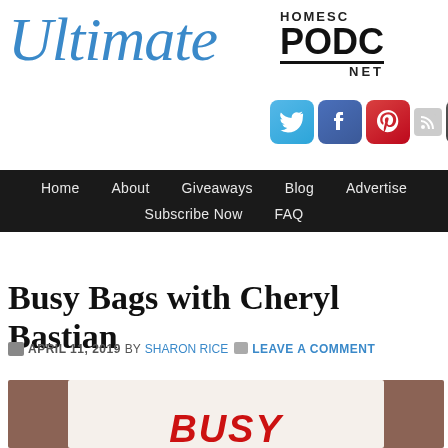[Figure (logo): Ultimate Homeschool Podcast Network logo with italic blue 'Ultimate' text and block 'HOMESC PODC NET' text]
[Figure (infographic): Social media icons: Twitter (blue bird), Facebook (blue f), Pinterest (red P), RSS (gray), Google+ (dark g+)]
Home   About   Giveaways   Blog   Advertise   Subscribe Now   FAQ
Busy Bags with Cheryl Bastian
APRIL 11, 2019 BY SHARON RICE   LEAVE A COMMENT
[Figure (photo): Featured image showing a book or material with red bold text 'BUSY' visible at the bottom, brown/tan background]